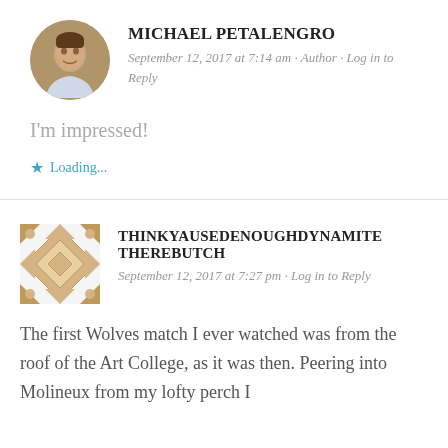MICHAEL PETALENGRO
September 12, 2017 at 7:14 am · Author · Log in to Reply
I'm impressed!
Loading...
THINKYAUSEDENOUGHDYNAMITETHEREBUTCH
September 12, 2017 at 7:27 pm · Log in to Reply
The first Wolves match I ever watched was from the roof of the Art College, as it was then. Peering into Molineux from my lofty perch I